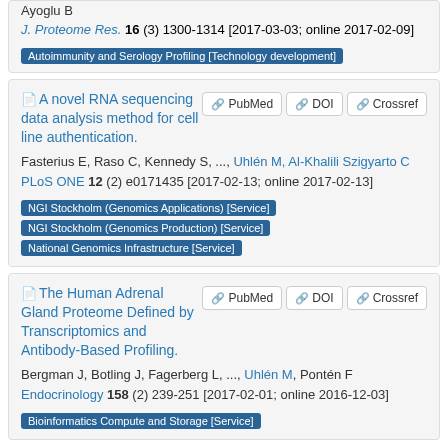Ayoglu B
J. Proteome Res. 16 (3) 1300-1314 [2017-03-03; online 2017-02-09]
Autoimmunity and Serology Profiling [Technology development]
A novel RNA sequencing data analysis method for cell line authentication.
Fasterius E, Raso C, Kennedy S, ..., Uhlén M, Al-Khalili Szigyarto C
PLoS ONE 12 (2) e0171435 [2017-02-13; online 2017-02-13]
NGI Stockholm (Genomics Applications) [Service]
NGI Stockholm (Genomics Production) [Service]
National Genomics Infrastructure [Service]
The Human Adrenal Gland Proteome Defined by Transcriptomics and Antibody-Based Profiling.
Bergman J, Botling J, Fagerberg L, ..., Uhlén M, Pontén F
Endocrinology 158 (2) 239-251 [2017-02-01; online 2016-12-03]
Bioinformatics Compute and Storage [Service]